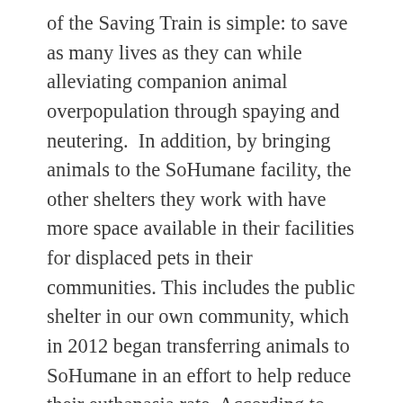of the Saving Train is simple: to save as many lives as they can while alleviating companion animal overpopulation through spaying and neutering.  In addition, by bringing animals to the SoHumane facility, the other shelters they work with have more space available in their facilities for displaced pets in their communities. This includes the public shelter in our own community, which in 2012 began transferring animals to SoHumane in an effort to help reduce their euthanasia rate. According to one shelter in Northern California with whom they partner, their euthanasia rate went down by over 30% in 2010 thanks solely to the Saving Train.